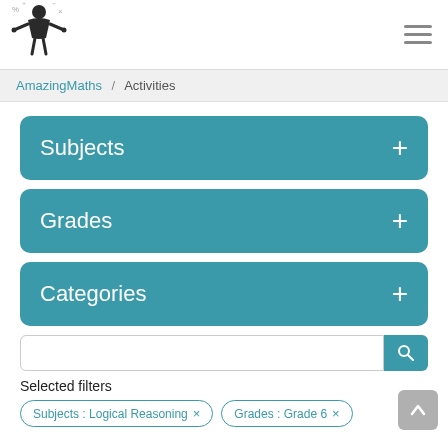[Figure (logo): AmazingMaths logo: silhouette of person juggling with mathematical symbols around them]
AmazingMaths / Activities
Subjects +
Grades +
Categories +
Selected filters
Subjects : Logical Reasoning ×
Grades : Grade 6 ×